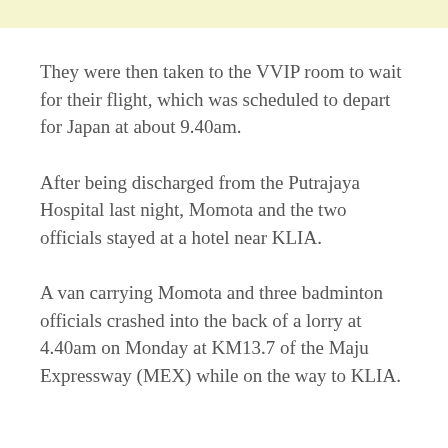They were then taken to the VVIP room to wait for their flight, which was scheduled to depart for Japan at about 9.40am.
After being discharged from the Putrajaya Hospital last night, Momota and the two officials stayed at a hotel near KLIA.
A van carrying Momota and three badminton officials crashed into the back of a lorry at 4.40am on Monday at KM13.7 of the Maju Expressway (MEX) while on the way to KLIA.